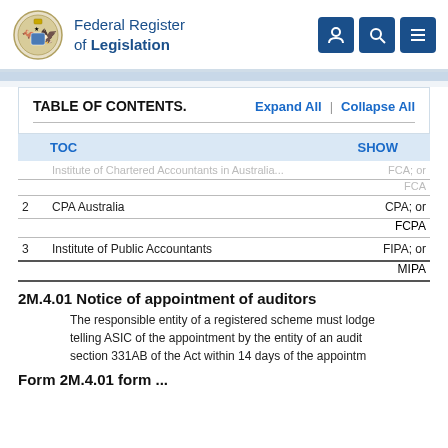Federal Register of Legislation
TABLE OF CONTENTS.   Expand All | Collapse All
| TOC |  | SHOW |
| --- | --- | --- |
|  | Institute of Chartered Accountants in Australia ... | FCA; or FCA |
| 2 | CPA Australia | CPA; or FCPA |
| 3 | Institute of Public Accountants | FIPA; or MIPA |
2M.4.01  Notice of appointment of auditors
The responsible entity of a registered scheme must lodge telling ASIC of the appointment by the entity of an audit section 331AB of the Act within 14 days of the appointm
Form 2M.4.01 form ...